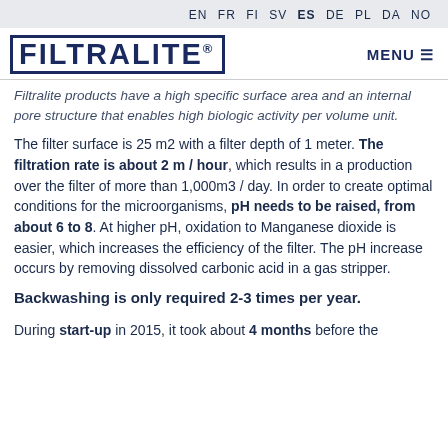EN FR FI SV ES DE PL DA NO
[Figure (logo): Filtralite logo with border and registration mark, with MENU hamburger icon on right]
Filtralite products have a high specific surface area and an internal pore structure that enables high biologic activity per volume unit.
The filter surface is 25 m2 with a filter depth of 1 meter. The filtration rate is about 2 m / hour, which results in a production over the filter of more than 1,000m3 / day. In order to create optimal conditions for the microorganisms, pH needs to be raised, from about 6 to 8. At higher pH, oxidation to Manganese dioxide is easier, which increases the efficiency of the filter. The pH increase occurs by removing dissolved carbonic acid in a gas stripper.
Backwashing is only required 2-3 times per year.
During start-up in 2015, it took about 4 months before the